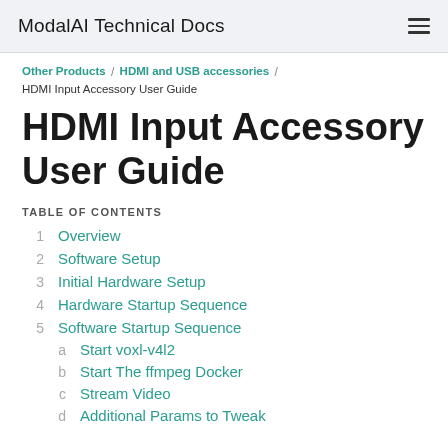ModalAI Technical Docs
Other Products / HDMI and USB accessories / HDMI Input Accessory User Guide
HDMI Input Accessory User Guide
TABLE OF CONTENTS
1  Overview
2  Software Setup
3  Initial Hardware Setup
4  Hardware Startup Sequence
5  Software Startup Sequence
a  Start voxl-v4l2
b  Start The ffmpeg Docker
c  Stream Video
d  Additional Params to Tweak